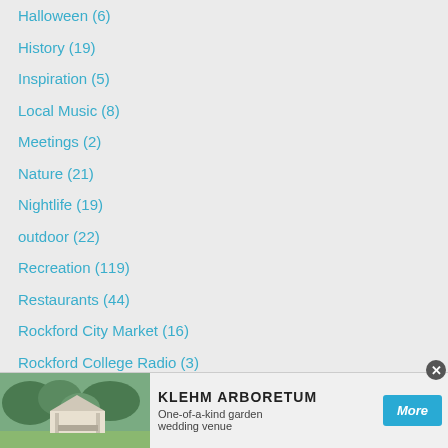Halloween (6)
History (19)
Inspiration (5)
Local Music (8)
Meetings (2)
Nature (21)
Nightlife (19)
outdoor (22)
Recreation (119)
Restaurants (44)
Rockford City Market (16)
Rockford College Radio (3)
Shopping (14)
Soccer (1)
Social Media (6)
Sports (34)
Stroll o...
Tourism...
[Figure (screenshot): Advertisement banner for Klehm Arboretum showing a garden wedding venue photo on the left, bold text 'KLEHM ARBORETUM' in center, subtitle 'One-of-a-kind garden wedding venue', and a blue 'More' button on the right.]